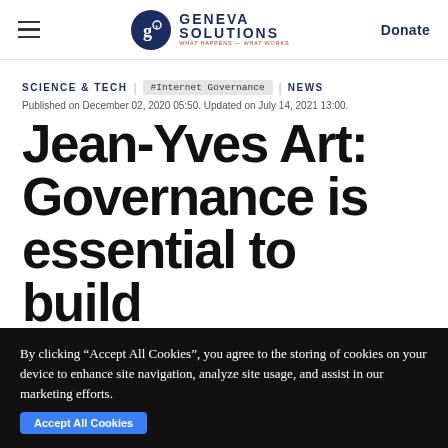Geneva Solutions | Donate
SCIENCE & TECH  #Internet Governance  NEWS
Published on December 02, 2020 05:50. Updated on July 14, 2021 13:00.
Jean-Yves Art: Governance is essential to build
By clicking “Accept All Cookies”, you agree to the storing of cookies on your device to enhance site navigation, analyze site usage, and assist in our marketing efforts.